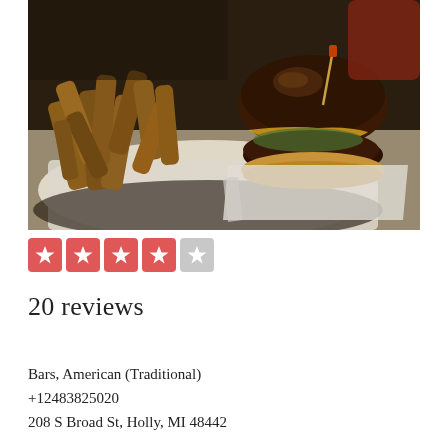[Figure (photo): Photo of a burger with fries in a basket lined with white paper, served in a casual bar/restaurant setting]
[Figure (other): Yelp-style star rating showing 4 out of 5 stars — four filled red star boxes and one empty grey star box]
20 reviews
Bars, American (Traditional)
+12483825020
208 S Broad St, Holly, MI 48442